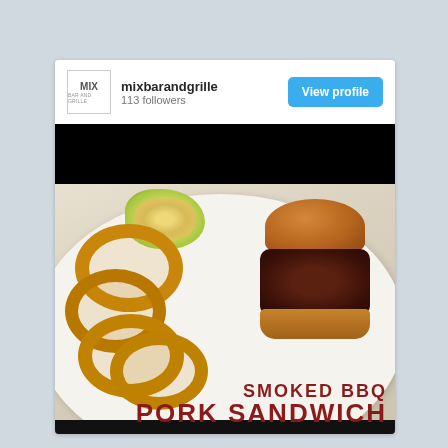[Figure (photo): Instagram-style card for 'mixbarandgrille' with profile header showing logo, username 'mixbarandgrille', '113 followers', a 'View profile' blue button, and a food photo of a Smoked BBQ Pork Sandwich with onion rings and coleslaw on a white plate. Text overlay reads 'SMOKED BBQ PORK SANDWICH' in dark red.]